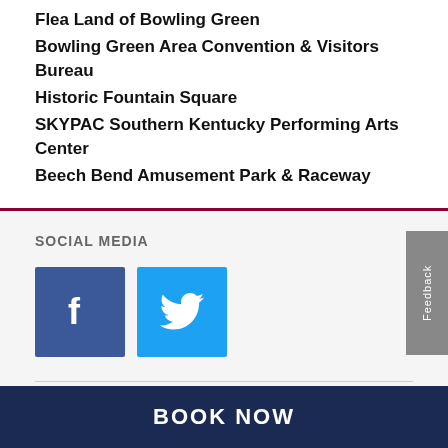Flea Land of Bowling Green
Bowling Green Area Convention & Visitors Bureau
Historic Fountain Square
SKYPAC Southern Kentucky Performing Arts Center
Beech Bend Amusement Park & Raceway
SOCIAL MEDIA
[Figure (logo): Facebook social media icon button (blue square with white f logo)]
[Figure (logo): Twitter social media icon button (light blue square with white bird logo)]
COMPANY
BOOK NOW